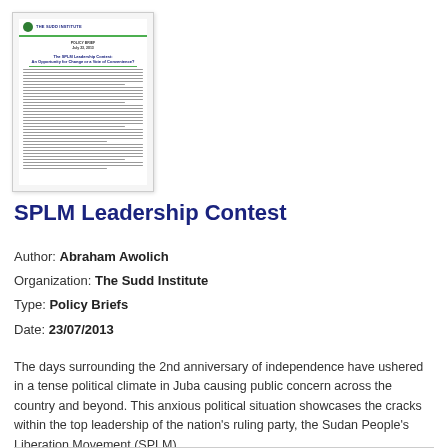[Figure (other): Thumbnail preview of the policy brief document showing The Sudd Institute header with green logo and bar, policy brief title text, and body text lines.]
SPLM Leadership Contest
Author: Abraham Awolich
Organization: The Sudd Institute
Type: Policy Briefs
Date: 23/07/2013
The days surrounding the 2nd anniversary of independence have ushered in a tense political climate in Juba causing public concern across the country and beyond. This anxious political situation showcases the cracks within the top leadership of the nation's ruling party, the Sudan People's Liberation Movement (SPLM).